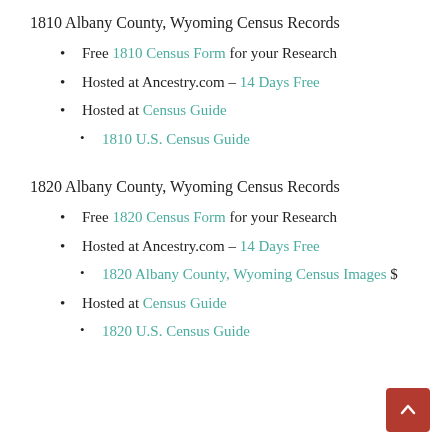1810 Albany County, Wyoming Census Records
Free 1810 Census Form for your Research
Hosted at Ancestry.com – 14 Days Free
Hosted at Census Guide
1810 U.S. Census Guide
1820 Albany County, Wyoming Census Records
Free 1820 Census Form for your Research
Hosted at Ancestry.com – 14 Days Free
1820 Albany County, Wyoming Census Images $
Hosted at Census Guide
1820 U.S. Census Guide